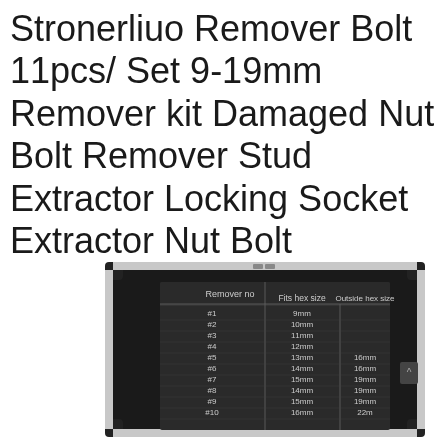Stronerliuo Remover Bolt 11pcs/ Set 9-19mm Remover kit Damaged Nut Bolt Remover Stud Extractor Locking Socket Extractor Nut Bolt
[Figure (photo): Photo of a black aluminum carrying case for the bolt remover set, showing a label on the inside lid with a table listing Remover no (#1 through #10), Fits hex size (9mm-16mm), and Outside hex size (16mm, 16mm, 19mm, 19mm, 19mm, 22m...)]